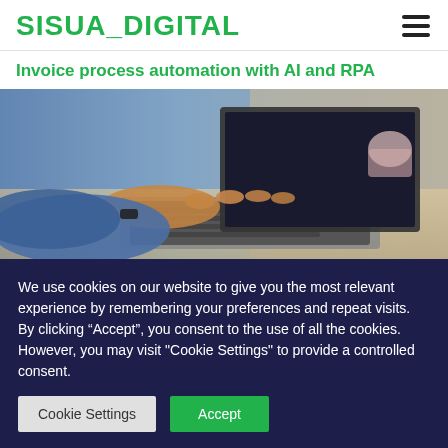SISUA_DIGITAL
Invoice process automation with AI and RPA
[Figure (photo): Person typing on a laptop keyboard, seen from above at a desk with blurred background]
We use cookies on our website to give you the most relevant experience by remembering your preferences and repeat visits. By clicking “Accept”, you consent to the use of all the cookies. However, you may visit "Cookie Settings" to provide a controlled consent.
Cookie Settings  |  Accept